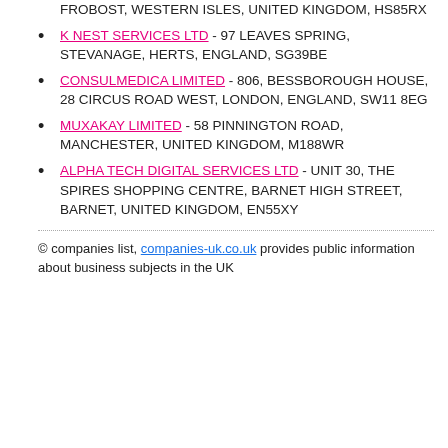FROBOST, WESTERN ISLES, UNITED KINGDOM, HS85RX
K NEST SERVICES LTD - 97 LEAVES SPRING, STEVANAGE, HERTS, ENGLAND, SG39BE
CONSULMEDICA LIMITED - 806, BESSBOROUGH HOUSE, 28 CIRCUS ROAD WEST, LONDON, ENGLAND, SW11 8EG
MUXAKAY LIMITED - 58 PINNINGTON ROAD, MANCHESTER, UNITED KINGDOM, M188WR
ALPHA TECH DIGITAL SERVICES LTD - UNIT 30, THE SPIRES SHOPPING CENTRE, BARNET HIGH STREET, BARNET, UNITED KINGDOM, EN55XY
© companies list, companies-uk.co.uk provides public information about business subjects in the UK